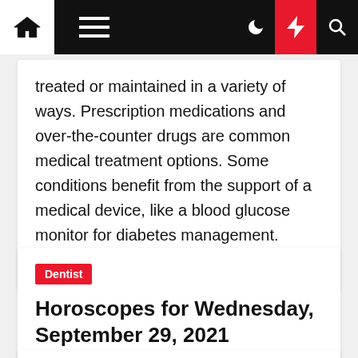Navigation bar with home, menu, moon, lightning, and search icons
treated or maintained in a variety of ways. Prescription medications and over-the-counter drugs are common medical treatment options. Some conditions benefit from the support of a medical device, like a blood glucose monitor for diabetes management. Others see […]
Dentist
Horoscopes for Wednesday, September 29, 2021
Eufemia Didonato  ⏱ 11 months ago